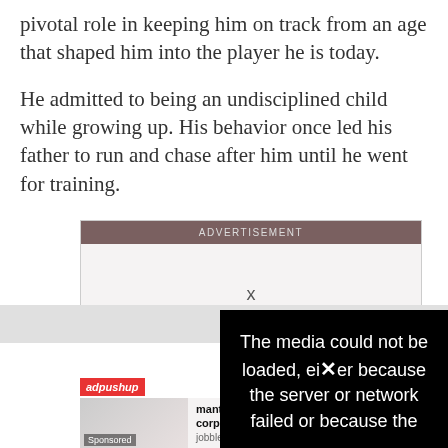pivotal role in keeping him on track from an age that shaped him into the player he is today.
He admitted to being an undisciplined child while growing up. His behavior once led his father to run and chase after him until he went for training.
[Figure (other): Advertisement box with dark brown header labeled ADVERTISEMENT, a light gray body area with an X close button, a black media error overlay reading 'The media could not be loaded, either because the server or network failed or because the', and below an adpushup-labeled sponsored ad for mantech international corporation Administrative from jobble.com]
mantech international corporation Administrative. jobble.com Sponsored